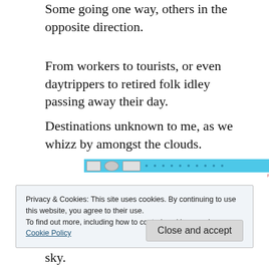Some going one way, others in the opposite direction.
From workers to tourists, or even daytrippers to retired folk idley passing away their day.
Destinations unknown to me, as we whizz by amongst the clouds.
[Figure (other): A blue banner advertisement strip with icons and dots]
Privacy & Cookies: This site uses cookies. By continuing to use this website, you agree to their use.
To find out more, including how to control cookies, see here:
Cookie Policy
sky.